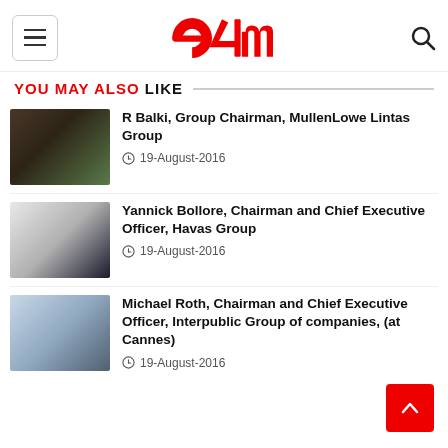[Figure (logo): e4m logo in red with hamburger menu icon on left and search icon on right]
YOU MAY ALSO LIKE
R Balki, Group Chairman, MullenLowe Lintas Group
19-August-2016
Yannick Bollore, Chairman and Chief Executive Officer, Havas Group
19-August-2016
Michael Roth, Chairman and Chief Executive Officer, Interpublic Group of companies, (at Cannes)
19-August-2016